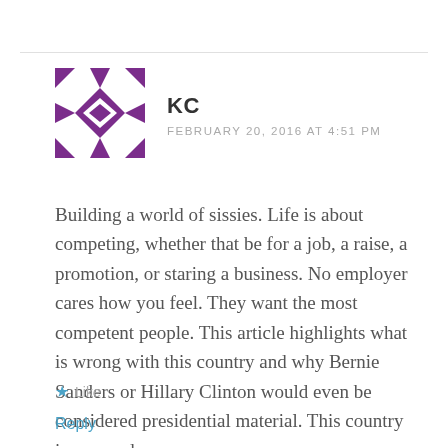[Figure (illustration): Purple geometric quilt-pattern avatar icon for user KC]
KC
FEBRUARY 20, 2016 AT 4:51 PM
Building a world of sissies. Life is about competing, whether that be for a job, a raise, a promotion, or staring a business. No employer cares how you feel. They want the most competent people. This article highlights what is wrong with this country and why Bernie Sanders or Hillary Clinton would even be considered presidential material. This country is screwed.
★ Like
Reply